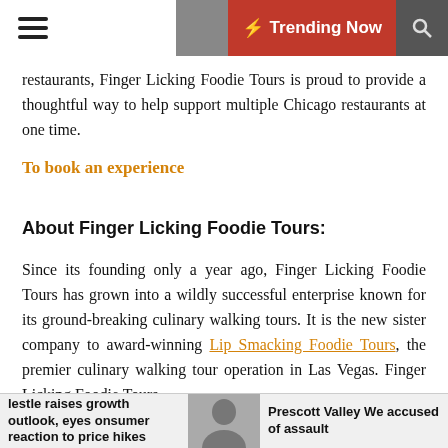☰ [moon icon] ⚡ Trending Now [search icon]
restaurants, Finger Licking Foodie Tours is proud to provide a thoughtful way to help support multiple Chicago restaurants at one time.
To book an experience
About Finger Licking Foodie Tours:
Since its founding only a year ago, Finger Licking Foodie Tours has grown into a wildly successful enterprise known for its ground-breaking culinary walking tours. It is the new sister company to award-winning Lip Smacking Foodie Tours, the premier culinary walking tour operation in Las Vegas. Finger Licking Foodie Tours
Nestle raises growth outlook, eyes consumer reaction to price hikes | Prescott Valley We accused of assault